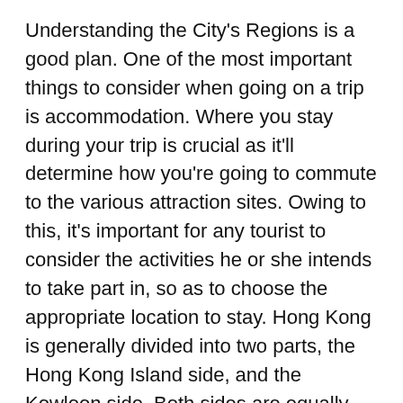Understanding the City's Regions is a good plan. One of the most important things to consider when going on a trip is accommodation. Where you stay during your trip is crucial as it'll determine how you're going to commute to the various attraction sites. Owing to this, it's important for any tourist to consider the activities he or she intends to take part in, so as to choose the appropriate location to stay. Hong Kong is generally divided into two parts, the Hong Kong Island side, and the Kowloon side. Both sides are equally great, offering exciting attractions, shopping malls, and restaurants. Before coming to a decision on where you'd like to stay, it'd be wise to do ample research about both areas.
Then get an Octopus Card. An Octopus card is an essential tool for everyone looking to tour HK. It's a prepaid card that allows people to pay for all public transportation with the exception of taxis. What's more, the card can also be used in a number of convenience stores